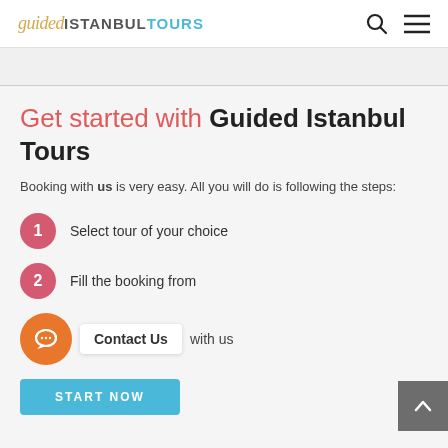guided ISTANBUL TOURS
Get started with Guided Istanbul Tours
Booking with us is very easy. All you will do is following the steps:
1 Select tour of your choice
2 Fill the booking from
Contact Us with us
START NOW